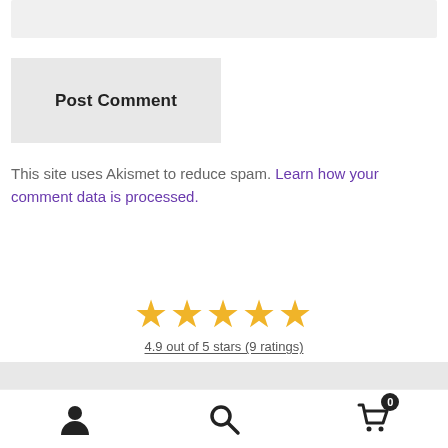[Figure (screenshot): Gray input/text area bar at top of page]
Post Comment
This site uses Akismet to reduce spam. Learn how your comment data is processed.
[Figure (other): Five gold stars rating display with text: 4.9 out of 5 stars (9 ratings)]
Bottom navigation bar with person icon, search icon, and cart icon with badge 0